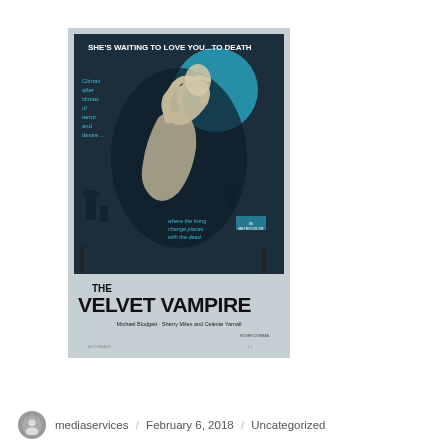[Figure (photo): Movie poster for 'The Velvet Vampire' (1971). Dark navy/teal background with a large teal moon. Top text reads 'SHE'S WAITING TO LOVE YOU...TO DEATH'. Left side reads 'Climax after climax of terror and desire...'. Central illustration shows a woman raising a man's head with arms outstretched. Lower text reads 'where the living change places with the dead.' Black bracket frame around lower portion. Large bold title 'THE VELVET VAMPIRE' at bottom. Credits: 'Michael Blodgett · Sherry Miles and Celeste Yarnall'. Light grey border/mat around the poster.]
mediaservices / February 6, 2018 / Uncategorized